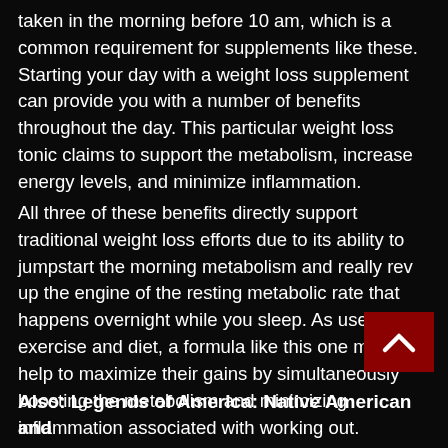taken in the morning before 10 am, which is a common requirement for supplements like these. Starting your day with a weight loss supplement can provide you with a number of benefits throughout the day. This particular weight loss tonic claims to support the metabolism, increase energy levels, and minimize inflammation.
All three of these benefits directly support traditional weight loss efforts due to its ability to jumpstart the morning metabolism and really rev up the engine of the resting metabolic rate that happens overnight while you sleep. As users exercise and diet, a formula like this one might help to maximize their gains by simultaneously boosting the metabolism and minimizing inflammation associated with working out.
Also: Legends of America: Native American and